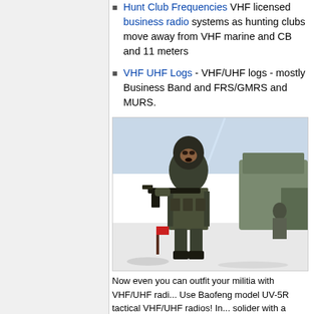Hunt Club Frequencies VHF licensed business radio systems as hunting clubs move away from VHF marine and CB and 11 meters
VHF UHF Logs - VHF/UHF logs - mostly Business Band and FRS/GMRS and MURS.
[Figure (photo): Armed soldier in balaclava with rifle, standing in snowy outdoor setting with military vehicles in background.]
Now even you can outfit your militia with VHF/UHF radi... Use Baofeng model UV-5R tactical VHF/UHF radios! In... solider with a handheld VHF UHF radio - the popular B... MHz and 400-520 MHz covers most of the popular VHF... 2 meter and 70 cm amateur bands. Reports indicate th...